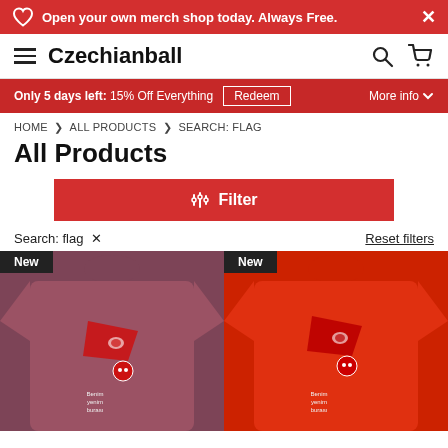Open your own merch shop today. Always Free.
Czechianball
Only 5 days left: 15% Off Everything   Redeem   More info
HOME > ALL PRODUCTS > SEARCH: FLAG
All Products
Filter
Search: flag ×
Reset filters
[Figure (photo): T-shirt product photo, mauve/dark pink color, with a Turkish flag-themed cartoon design. 'New' badge in top left corner.]
[Figure (photo): T-shirt product photo, red color, with a Turkish flag-themed cartoon design. 'New' badge in top left corner.]